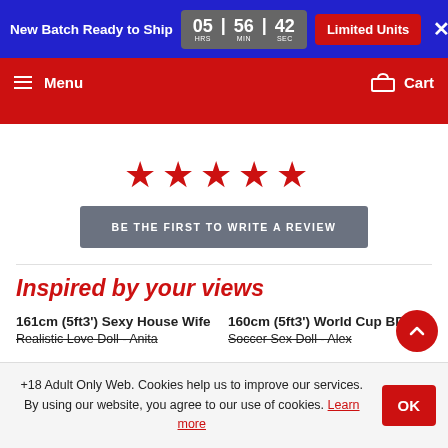New Batch Ready to Ship  05 HRS | 56 MIN | 42 SEC  Limited Units  ×
Menu   Cart
[Figure (other): Five red star rating icons centered on white background]
BE THE FIRST TO WRITE A REVIEW
Inspired by your views
161cm (5ft3') Sexy House Wife
160cm (5ft3') World Cup BDSM
Realistic Love Doll - Anita
Soccer Sex Doll - Alex
+18 Adult Only Web. Cookies help us to improve our services. By using our website, you agree to our use of cookies. Learn more